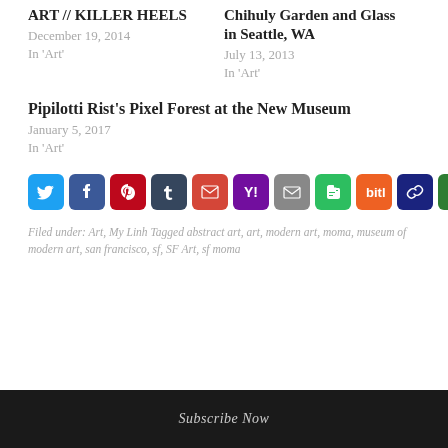ART // KILLER HEELS
December 19, 2014
In 'Art'
Chihuly Garden and Glass in Seattle, WA
July 13, 2013
In 'Art'
Pipilotti Rist's Pixel Forest at the New Museum
January 5, 2017
In 'Art'
[Figure (infographic): Row of social media share buttons: Twitter, Facebook, Pinterest, Tumblr, Gmail, Yahoo Mail, Email, Evernote, Bitly, Copy Link, More Options]
Filed under: Art, My Linh Tagged abstract art, art, modern art, moma, museum of modern art, san francisco, sf, SF Art, sf moma
Subscribe Now